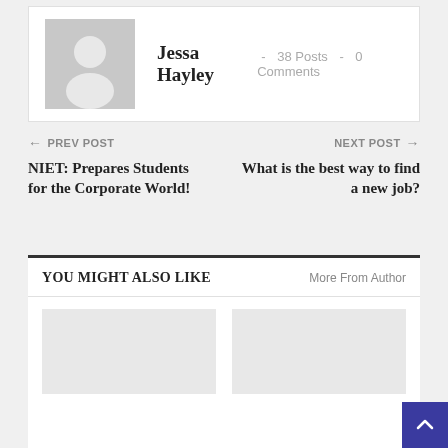[Figure (photo): Author avatar placeholder image showing a gray silhouette of a person on a gray background]
Jessa Hayley  -  38 Posts  -  0 Comments
← PREV POST
NIET: Prepares Students for the Corporate World!
NEXT POST →
What is the best way to find a new job?
YOU MIGHT ALSO LIKE
More From Author
[Figure (photo): Thumbnail image placeholder 1 (light gray)]
[Figure (photo): Thumbnail image placeholder 2 (light gray)]